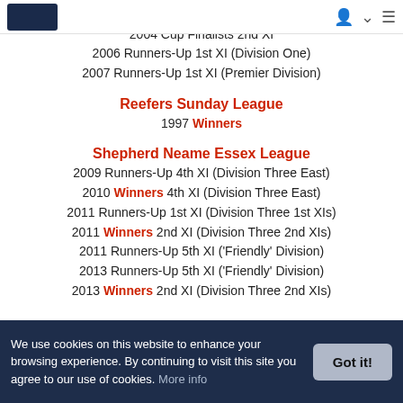[Logo] [icons]
1998 Runners-Up 2nd XI (Division Two)
2004 Cup Finalists 2nd XI
2006 Runners-Up 1st XI (Division One)
2007 Runners-Up 1st XI (Premier Division)
Reefers Sunday League
1997 Winners
Shepherd Neame Essex League
2009 Runners-Up 4th XI (Division Three East)
2010 Winners 4th XI (Division Three East)
2011 Runners-Up 1st XI (Division Three 1st XIs)
2011 Winners 2nd XI (Division Three 2nd XIs)
2011 Runners-Up 5th XI ('Friendly' Division)
2013 Runners-Up 5th XI ('Friendly' Division)
2013 Winners 2nd XI (Division Three 2nd XIs)
We use cookies on this website to enhance your browsing experience. By continuing to visit this site you agree to our use of cookies. More info